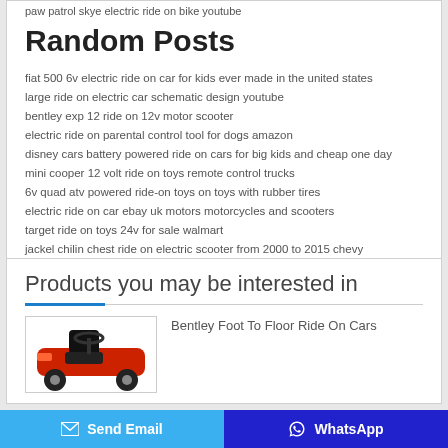paw patrol skye electric ride on bike youtube
Random Posts
fiat 500 6v electric ride on car for kids ever made in the united states
large ride on electric car schematic design youtube
bentley exp 12 ride on 12v motor scooter
electric ride on parental control tool for dogs amazon
disney cars battery powered ride on cars for big kids and cheap one day
mini cooper 12 volt ride on toys remote control trucks
6v quad atv powered ride-on toys on toys with rubber tires
electric ride on car ebay uk motors motorcycles and scooters
target ride on toys 24v for sale walmart
jackel chilin chest ride on electric scooter from 2000 to 2015 chevy
Products you may be interested in
[Figure (photo): Photo of a red and black Bentley foot to floor ride-on car toy]
Bentley Foot To Floor Ride On Cars